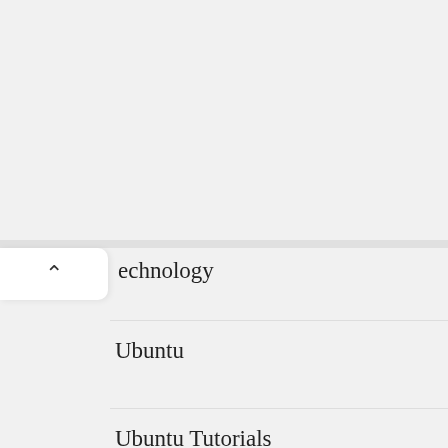[Figure (screenshot): Ad banner showing equestrian rider on horse, dark teal background, with 'The Equestic SaddleClip' text overlay and 'Ad' tag in top-left corner]
600+ revie
Equestic_noCT
echnology
Ubuntu
Ubuntu Tutorials
Vue JS Tutorial
Wordpress Tutorials